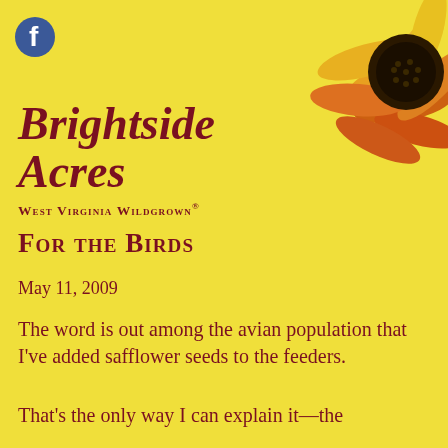Brightside Acres – West Virginia Wildgrown®
[Figure (photo): Sunflower photo in upper right corner, showing yellow and orange petals with dark center]
Brightside Acres
West Virginia Wildgrown®
For the Birds
May 11, 2009
The word is out among the avian population that I've added safflower seeds to the feeders.
That's the only way I can explain it—the